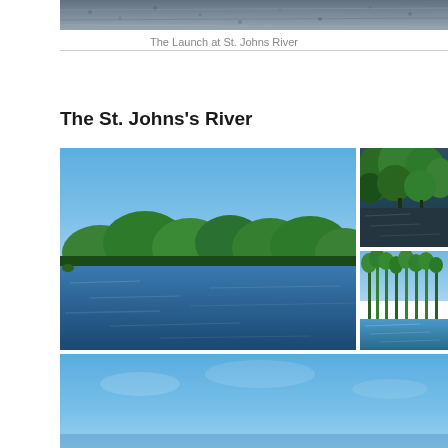[Figure (photo): Top portion of a photo showing the launch area at St. Johns River — water and rocky/gravelly surface texture in blue-grey tones]
The Launch at St. Johns River
The St. Johns's River
[Figure (photo): Collage of four photos of the St. Johns River: (1) large left photo showing the river with green tree line and blue sky; (2) top-right photo showing dark river water and dense green trees; (3) bottom-right photo showing tall thin trees at water's edge; (4) bottom strip photo showing blue sky and water]
[Figure (photo): Bottom strip photo showing blue sky and water at St. Johns River]